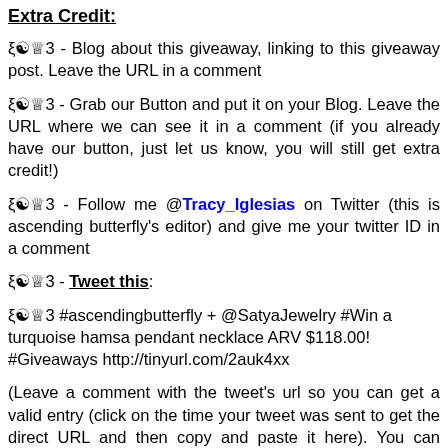Extra Credit:
☯☯☯ - Blog about this giveaway, linking to this giveaway post. Leave the URL in a comment
☯☯☯ - Grab our Button and put it on your Blog. Leave the URL where we can see it in a comment (if you already have our button, just let us know, you will still get extra credit!)
☯☯☯ - Follow me @Tracy_Iglesias on Twitter (this is ascending butterfly's editor) and give me your twitter ID in a comment
☯☯☯ - Tweet this:
☯☯☯ #ascendingbutterfly + @SatyaJewelry #Win a turquoise hamsa pendant necklace ARV $118.00! #Giveaways http://tinyurl.com/2auk4xx
(Leave a comment with the tweet's url so you can get a valid entry (click on the time your tweet was sent to get the direct URL and then copy and paste it here). You can Tweet